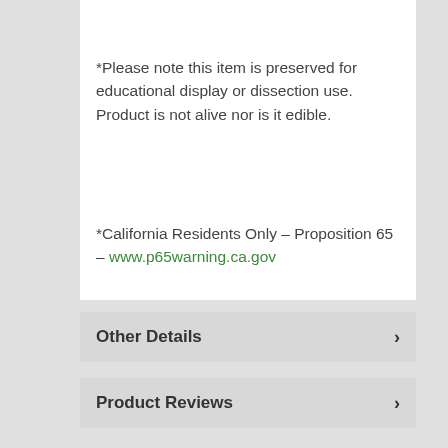*Please note this item is preserved for educational display or dissection use. Product is not alive nor is it edible.
*California Residents Only – Proposition 65 – www.p65warning.ca.gov
Other Details
Product Reviews